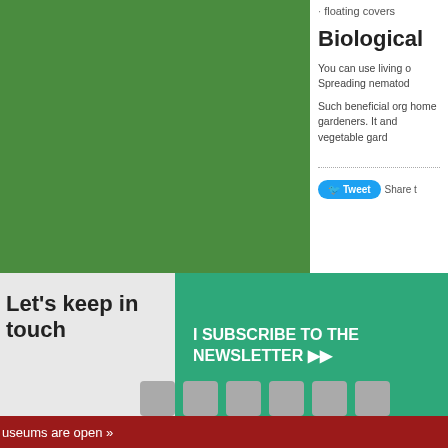[Figure (photo): Green background image area on the left side of the page]
floating covers
Biological
You can use living o... Spreading nematod...
Such beneficial org... home gardeners. It... and vegetable gard...
Tweet  Share t
Let's keep in touch
I SUBSCRIBE TO THE NEWSLETTER ▶▶
useums are open »